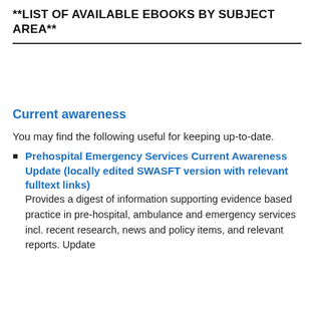**LIST OF AVAILABLE EBOOKS BY SUBJECT AREA**
Current awareness
You may find the following useful for keeping up-to-date.
Prehospital Emergency Services Current Awareness Update (locally edited SWASFT version with relevant fulltext links)
Provides a digest of information supporting evidence based practice in pre-hospital, ambulance and emergency services incl. recent research, news and policy items, and relevant reports. Update